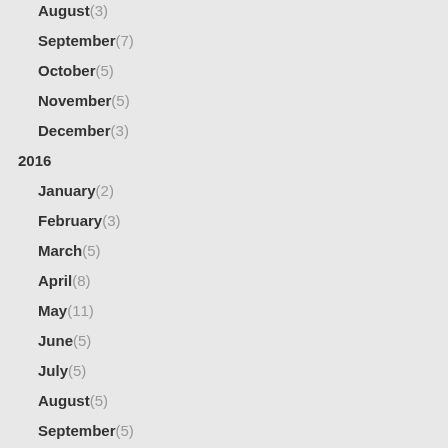August(3)
September(7)
October(5)
November(5)
December(3)
2016
January(2)
February(3)
March(5)
April(8)
May(11)
June(5)
July(5)
August(5)
September(5)